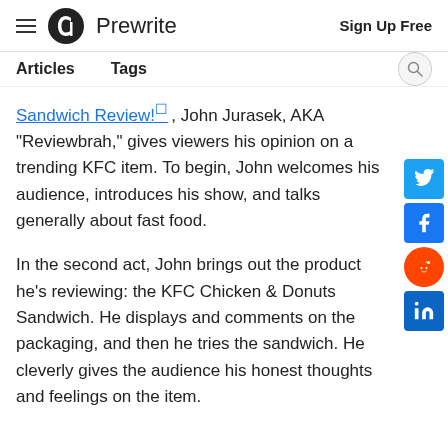Prewrite — Sign Up Free
Articles   Tags
Sandwich Review! , John Jurasek, AKA "Reviewbrah," gives viewers his opinion on a trending KFC item. To begin, John welcomes his audience, introduces his show, and talks generally about fast food.
In the second act, John brings out the product he's reviewing: the KFC Chicken & Donuts Sandwich. He displays and comments on the packaging, and then he tries the sandwich. He cleverly gives the audience his honest thoughts and feelings on the item.